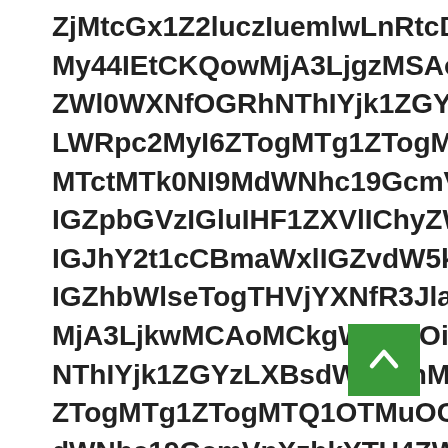ZjMtcGx1Z2luczIuemlwLnRtcDogNTAwMCBmaWxlcyBpbiBxdWV1ZQ==
My44IEtCKQowMjA3LjgzMSAoMCkgWmlwOiBiYWNrdXAgZmlsZSB3
ZWl0WXNfOGRhNThIYjk1ZGYzLXBsdWdpbnMyLnppcCBmb3VuZCwg
LWRpc2MyI6ZTogMTg1ZTogMTQ1OTMuOCBLQikwd4MzMgKDAvMy80
MTctMTk0NI9MdWNhc19GcmVpXzhkYTU4ZWl5ZXNfOGRhNThIYjk1
IGZpbGVzIGluIHF1ZXVlIChyZW1haW5pbmcgZGlzayBzcGFjZTogN
IGJhY2t1cCBmaWxlIGZvdW5kLCBza2lwcGluZy4gKE9sZCBiYWNrdX
IGZhbWlseTogTHVjYXNfR3JlaWZlbmJlcmdlcl84ZGE1OGViMjRhO
MjA3LjkwMCAoMCkgWmlwOiBTdGFydGluZyBuZXcgYmFja3VwIGZpbGU
NThIYjk1ZGYzLXBsdWdpbnMyLnppcCBmb3VuZCwgc2tpcHBpbmcuIChPbGQ
ZTogMTg1ZTogMTQ1OTMuOCBLQikwd4MzMgKDAvMy80NVAoODAzMgp
dWNhc19GcmVpXzhkYTU4ZWl5ZXNfOGRhNThIYjk1ZGYzLXBsdWdpb
ZGlzayBzcGFjZTogNDAwLjYgTUIpOiBTbG93ZG93biByZXF1ZXN0ZWQ
MTctMTk0NI9MdWNhc19HcmVpZmVuYmVyZ2VyXzhkYTU4ZWIyNGFi
THVjYXNfR3JlaWZlbmJlcmdlcl84ZGE1OGViMjRh